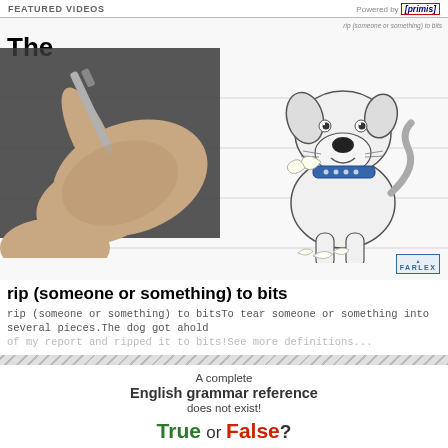FEATURED VIDEOS  Powered by [primis]
[Figure (screenshot): Video thumbnail showing a hand writing on a whiteboard with 'The' visible, and an illustrated cartoon dog (white terrier with blue collar) on the right side. Horizontal ruled lines in background. Title overlay: 'rip (someone or something) to bits'. Farlex logo bottom right.]
rip (someone or something) to bits
rip (someone or something) to bitsTo tear someone or something into several pieces.The dog got ahold of my report and ripped it to bits!See more definitions...
A complete
English grammar reference
does not exist!
True or False?
False, now it does!
Check out The Farlex Grammar Book